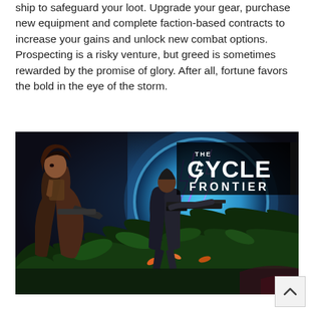ship to safeguard your loot. Upgrade your gear, purchase new equipment and complete faction-based contracts to increase your gains and unlock new combat options. Prospecting is a risky venture, but greed is sometimes rewarded by the promise of glory. After all, fortune favors the bold in the eye of the storm.
[Figure (illustration): The Cycle: Frontier game promotional image showing two armored characters in a lush alien jungle environment with glowing portal and the game logo 'THE CYCLE FRONTIER' in the upper right.]